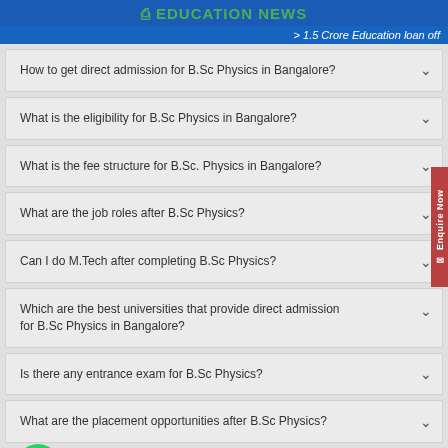EDUCATION NEWS
> 1.5 Crore Education loan off
How to get direct admission for B.Sc Physics in Bangalore?
What is the eligibility for B.Sc Physics in Bangalore?
What is the fee structure for B.Sc. Physics in Bangalore?
What are the job roles after B.Sc Physics?
Can I do M.Tech after completing B.Sc Physics?
Which are the best universities that provide direct admission for B.Sc Physics in Bangalore?
Is there any entrance exam for B.Sc Physics?
What are the placement opportunities after B.Sc Physics?
If I have completed ITI, can I join B.Sc Physics?
Can I join MCA after B.Sc Physics?